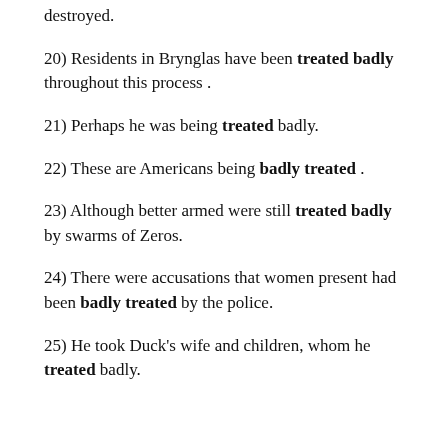destroyed.
20) Residents in Brynglas have been treated badly throughout this process .
21) Perhaps he was being treated badly.
22) These are Americans being badly treated .
23) Although better armed were still treated badly by swarms of Zeros.
24) There were accusations that women present had been badly treated by the police.
25) He took Duck's wife and children, whom he treated badly.